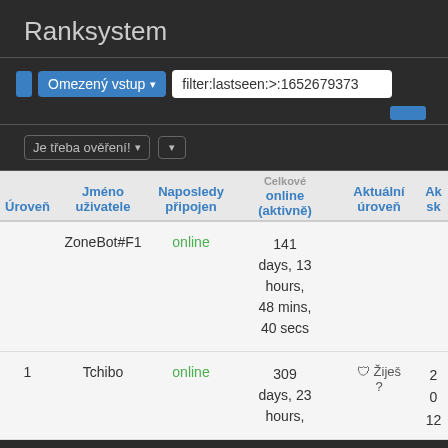Ranksystem
Omezený vstup ▾
filter:lastseen:>:1652679373
Je třeba ověření! ▾
| Úroveň | Jméno uživatele | Naposledy připojen | Celkové online (aktivně) | Aktuální úroveň | Ak sk |
| --- | --- | --- | --- | --- | --- |
|  | ZoneBot#F1 | online | 141 days, 13 hours, 48 mins, 40 secs |  |  |
| 1 | Tchibo | online | 309 days, 23 hours, | 🛡 Žiješ ? | 2 0 12 |